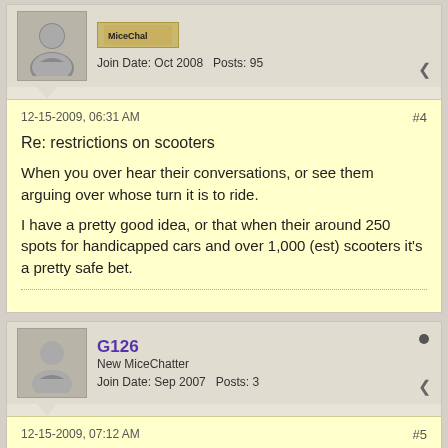MiceChat | Join Date: Oct 2008  Posts: 95
12-15-2009, 06:31 AM
#4
Re: restrictions on scooters
When you over hear their conversations, or see them arguing over whose turn it is to ride.
I have a pretty good idea, or that when their around 250 spots for handicapped cars and over 1,000 (est) scooters it's a pretty safe bet.
G126
New MiceChatter
Join Date: Sep 2007  Posts: 3
12-15-2009, 07:12 AM
#5
Re: restrictions on scooters